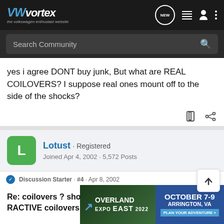VWvortex - the volkswagen enthusiast website
yes i agree DONT buy junk, But what are REAL COILOVERS? I suppose real ones mount off to the side of the shocks?
Lotust · Registered
Joined Apr 4, 2002 · 5,572 Posts
Discussion Starter · #4 · Apr 8, 2002
Re: coilovers ? should I ? i hate a harsh ride? RACTIVE coilovers
[Figure (screenshot): Overland Expo East 2022 advertisement banner: October 7-9, Arrington, VA. Plan Your Adventure.]